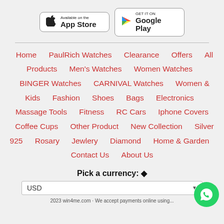[Figure (other): App Store and Google Play download buttons]
Home · PaulRich Watches · Clearance · Offers · All Products · Men's Watches · Women Watches · BINGER Watches · CARNIVAL Watches · Women & Kids · Fashion · Shoes · Bags · Electronics · Massage Tools · Fitness · RC Cars · Iphone Covers · Coffee Cups · Other Product · New Collection · Silver 925 · Rosary · Jewlery · Diamond · Home & Garden · Contact Us · About Us
Pick a currency: ◆
USD
2023 win4me.com · We accept payments online using...